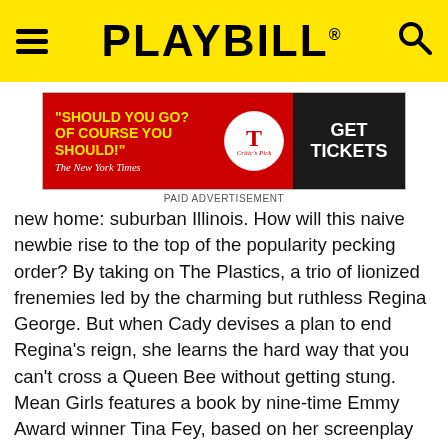PLAYBILL
[Figure (other): Advertisement banner: 'SHOULD YOU GO? OF COURSE YOU SHOULD!' - The New York Times, with GET TICKETS button. Labeled PAID ADVERTISEMENT.]
new home: suburban Illinois. How will this naive newbie rise to the top of the popularity pecking order? By taking on The Plastics, a trio of lionized frenemies led by the charming but ruthless Regina George. But when Cady devises a plan to end Regina's reign, she learns the hard way that you can't cross a Queen Bee without getting stung. Mean Girls features a book by nine-time Emmy Award winner Tina Fey, based on her screenplay for the film, music by three-time Emmy Award winner Jeff Richmond; and lyrics by two-time Tony Award nominee Nell Benjamin. Tony Award winner Casey Nicholaw directs and choreographs. [Equity]